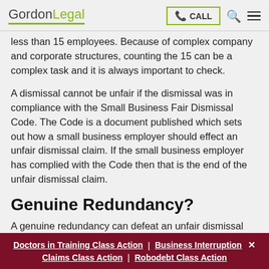GordonLegal | CALL
less than 15 employees. Because of complex company and corporate structures, counting the 15 can be a complex task and it is always important to check.
A dismissal cannot be unfair if the dismissal was in compliance with the Small Business Fair Dismissal Code. The Code is a document published which sets out how a small business employer should effect an unfair dismissal claim. If the small business employer has complied with the Code then that is the end of the unfair dismissal claim.
Genuine Redundancy?
A genuine redundancy can defeat an unfair dismissal claim. A genuine redundancy is defined as:
Doctors in Training Class Action | Business Interruption Claims Class Action | Robodebt Class Action